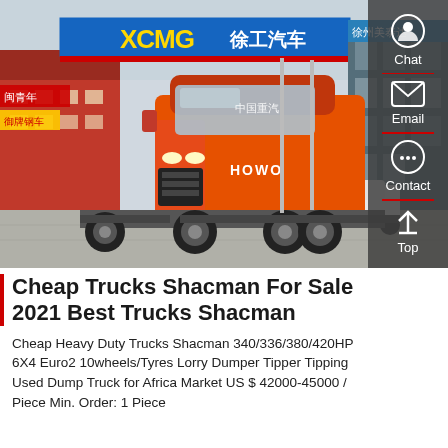[Figure (photo): Orange HOWO/Sinotruk heavy duty truck parked in front of a dealership with colorful signage including XCMG branding in China. The truck is a 6x4 tractor unit in bright orange color.]
Cheap Trucks Shacman For Sale 2021 Best Trucks Shacman
Cheap Heavy Duty Trucks Shacman 340/336/380/420HP 6X4 Euro2 10wheels/Tyres Lorry Dumper Tipper Tipping Used Dump Truck for Africa Market US $ 42000-45000 / Piece Min. Order: 1 Piece